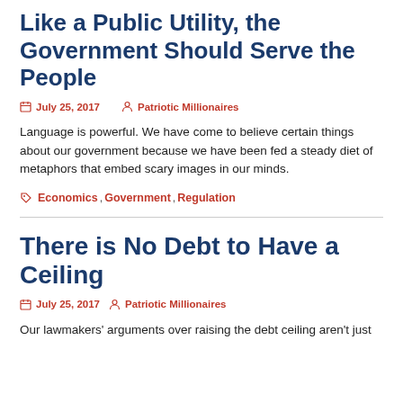Like a Public Utility, the Government Should Serve the People
July 25, 2017  Patriotic Millionaires
Language is powerful. We have come to believe certain things about our government because we have been fed a steady diet of metaphors that embed scary images in our minds.
Economics, Government, Regulation
There is No Debt to Have a Ceiling
July 25, 2017  Patriotic Millionaires
Our lawmakers' arguments over raising the debt ceiling aren't just